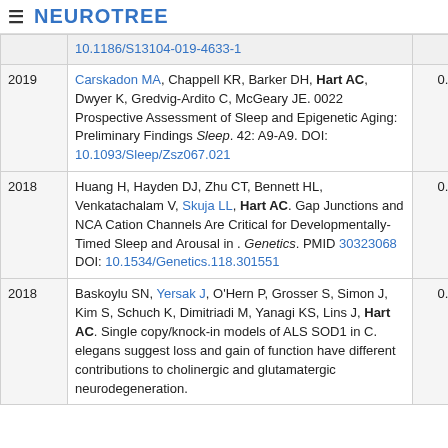≡ NEUROTREE
| Year | Reference | Score |  |
| --- | --- | --- | --- |
|  | 10.1186/S13104-019-4633-1 |  |  |
| 2019 | Carskadon MA, Chappell KR, Barker DH, Hart AC, Dwyer K, Gredvig-Ardito C, McGeary JE. 0022 Prospective Assessment of Sleep and Epigenetic Aging: Preliminary Findings Sleep. 42: A9-A9. DOI: 10.1093/Sleep/Zsz067.021 | 0.346 |  |
| 2018 | Huang H, Hayden DJ, Zhu CT, Bennett HL, Venkatachalam V, Skuja LL, Hart AC. Gap Junctions and NCA Cation Channels Are Critical for Developmentally-Timed Sleep and Arousal in . Genetics. PMID 30323068 DOI: 10.1534/Genetics.118.301551 | 0.709 |  |
| 2018 | Baskoylu SN, Yersak J, O'Hern P, Grosser S, Simon J, Kim S, Schuch K, Dimitriadi M, Yanagi KS, Lins J, Hart AC. Single copy/knock-in models of ALS SOD1 in C. elegans suggest loss and gain of function have different contributions to cholinergic and glutamatergic neurodegeneration. | 0.331 |  |